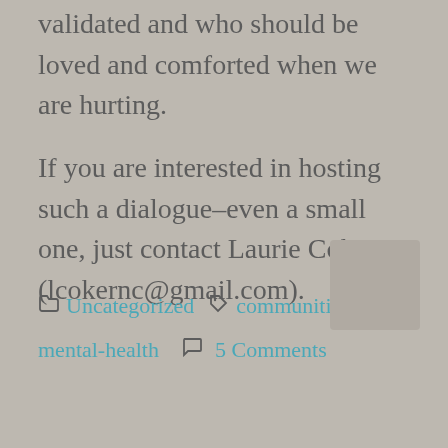validated and who should be loved and comforted when we are hurting.
If you are interested in hosting such a dialogue–even a small one, just contact Laurie Coker (lcokernc@gmail.com).
📁 Uncategorized 🏷 communities, mental-health 💬 5 Comments